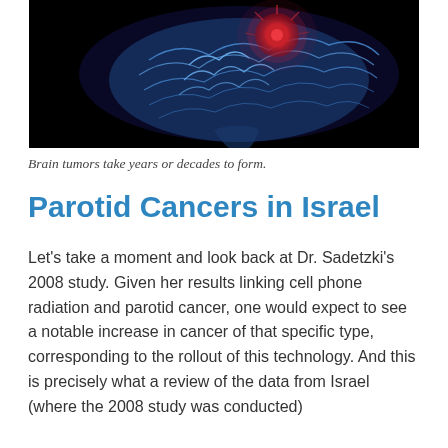[Figure (photo): Medical illustration of a human brain scan in blue tones with a red/pink highlighted tumor region visible on a black background.]
Brain tumors take years or decades to form.
Parotid Cancers in Israel
Let’s take a moment and look back at Dr. Sadetzki’s 2008 study. Given her results linking cell phone radiation and parotid cancer, one would expect to see a notable increase in cancer of that specific type, corresponding to the rollout of this technology. And this is precisely what a review of the data from Israel (where the 2008 study was conducted)